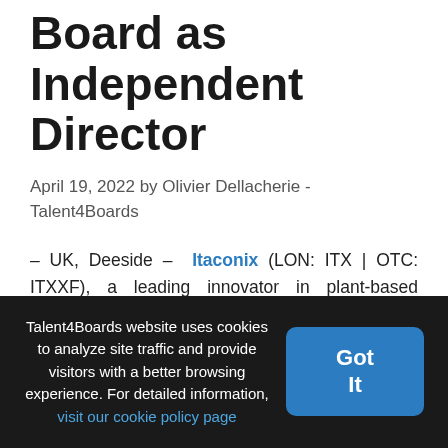Board as Independent Director
April 19, 2022 by Olivier Dellacherie - Talent4Boards
– UK, Deeside – Itaconix (LON: ITX | OTC: ITXXF), a leading innovator in plant-based specialty polymers used as essential ingredients in everyday consumer products, today announced the appointment of Charlean Gmunder to its Board as an Independent Non-Executive Director, with immediate effect, replacing Dr. Bryan Dobson who
Talent4Boards website uses cookies to analyze site traffic and provide visitors with a better browsing experience. For detailed information, visit our cookie policy page